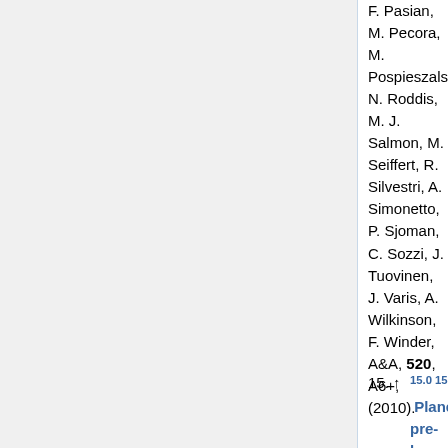F. Pasian, M. Pecora, M. Pospieszalski, N. Roddis, M. J. Salmon, M. Seiffert, R. Silvestri, A. Simonetto, P. Sjoman, C. Sozzi, J. Tuovinen, J. Varis, A. Wilkinson, F. Winder, A&A, 520, A6+, (2010).
15. ↑ 15.0 15.1 15.2 15.3 Planck pre-launch status: Low Frequency Instrument calibration and expected scientific performance, A. Mennella, M. Bersanelli, R. C. Butler, F. Cuttaia, O. D'Arcangelo, R. J. Davis, M. Frailis, S. Galeotta, A. Gregorio, C. R. Lawrence, R. Leonardi, S. R. Lowe, N. Mandolesi, M. Maris, P. Meinhold, L. Mendes, G. Morgante, M. Sandri, L. Stringhetti, L. Terenzi,